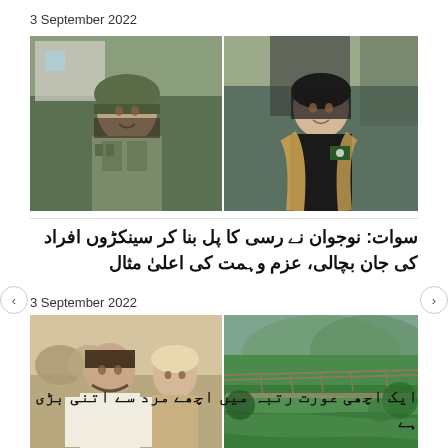3 September 2022
[Figure (photo): Two side-by-side photos: left shows a young person wearing military/army helmet and green tactical vest; right shows a young person in police uniform with brown/khaki dupatta and Pakistani flag badge.]
سوات: نوجوان نے رسی کا پل بنا کر سینکڑوں افراد کی جان بچالی، عزم وہمت کی اعلیٰ مثال
3 September 2022
[Figure (photo): Two side-by-side photos: left shows two men standing together in traditional shalwar kameez near what appears to be a bridge or rope structure; right shows a green valley landscape with a makeshift rope bridge visible.]
ایک اچھی عورت رتبہ میں اچھے مرد سے اتنی بڑی ہے